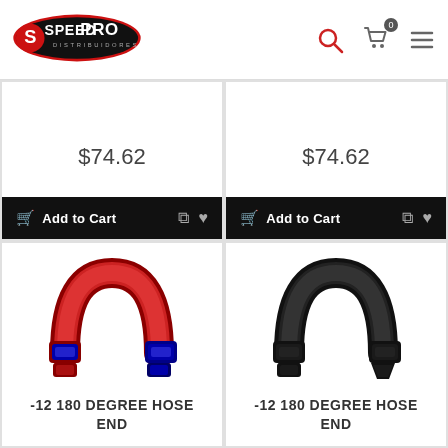[Figure (logo): SpeedPro Distribuidores logo - red oval with white text]
$74.62
$74.62
Add to Cart
Add to Cart
[Figure (photo): Red and blue -12 180 degree hose end fitting]
[Figure (photo): Black -12 180 degree hose end fitting]
-12 180 DEGREE HOSE END
-12 180 DEGREE HOSE END